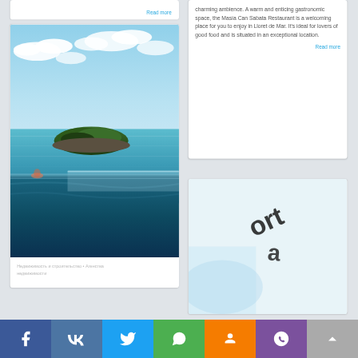Read more
[Figure (photo): Infinity pool overlooking rocky island and sea with sky and clouds]
Недвижимость и строительство • Агенства недвижимости
charming ambience. A warm and enticing gastronomic space, the Masía Can Sabata Restaurant is a welcoming place for you to enjoy in Lloret de Mar. It's ideal for lovers of good food and is situated in an exceptional location.
Read more
[Figure (photo): Partial image showing stylized text or logo in black on light background]